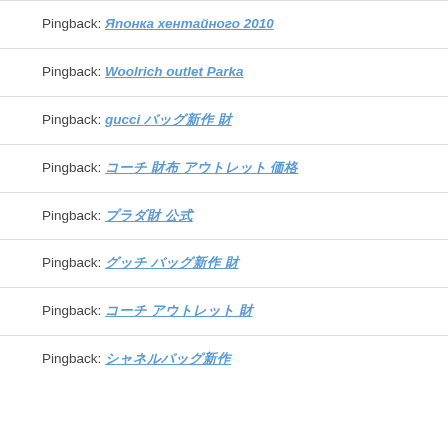Pingback: [link: Японка хентайного 2010]
Pingback: Woolrich outlet Parka
Pingback: gucci [link text in Japanese]
Pingback: [link text in Japanese]
Pingback: [link text in Japanese]
Pingback: [link text in Japanese]
Pingback: [link text in Japanese]
Pingback: [link text in Japanese]